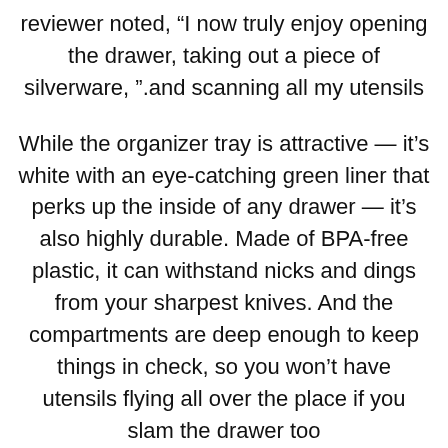reviewer noted, “I now truly enjoy opening the drawer, taking out a piece of silverware, ”.and scanning all my utensils
While the organizer tray is attractive — it’s white with an eye-catching green liner that perks up the inside of any drawer — it’s also highly durable. Made of BPA-free plastic, it can withstand nicks and dings from your sharpest knives. And the compartments are deep enough to keep things in check, so you won’t have utensils flying all over the place if you slam the drawer too